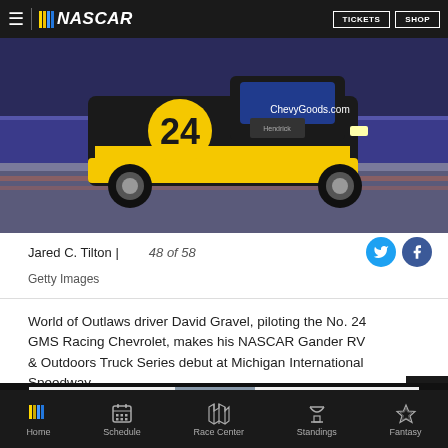NASCAR | TICKETS | SHOP
[Figure (photo): NASCAR truck number 24 GMS Racing Chevrolet with black and yellow livery (ChevyGoods.com sponsor) racing on a track]
Jared C. Tilton | 48 of 58
Getty Images
World of Outlaws driver David Gravel, piloting the No. 24 GMS Racing Chevrolet, makes his NASCAR Gander RV & Outdoors Truck Series debut at Michigan International Speedway.
[Figure (screenshot): NASCAR advertisement banner: NASCAR logo with BUY TICKETS button, race car image, and text YOU'VE GOTTA BE THERE!]
Home | Schedule | Race Center | Standings | Fantasy